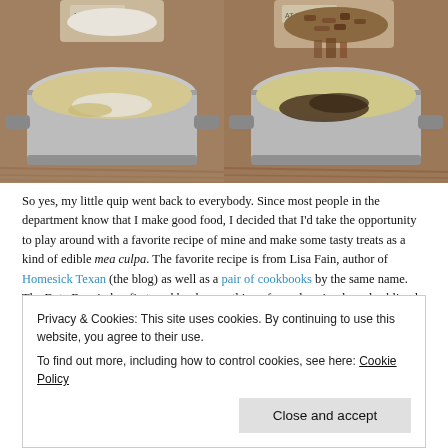[Figure (photo): Two side-by-side food photos showing ingredients being added to a pot: left photo shows flour/powder being added to a saucepan with butter, right photo shows chopped nuts/dates being poured from a bowl into the same type of saucepan.]
So yes, my little quip went back to everybody. Since most people in the department know that I make good food, I decided that I'd take the opportunity to play around with a favorite recipe of mine and make some tasty treats as a kind of edible mea culpa. The favorite recipe is from Lisa Fain, author of Homesick Texan (the blog) as well as a pair of cookbooks by the same name. The Date Bars in her first cookbook are a thing of wonder, simple and sublimely
Privacy & Cookies: This site uses cookies. By continuing to use this website, you agree to their use.
To find out more, including how to control cookies, see here: Cookie Policy
Close and accept